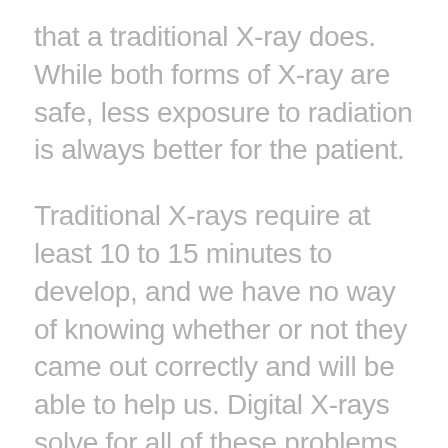that a traditional X-ray does. While both forms of X-ray are safe, less exposure to radiation is always better for the patient.
Traditional X-rays require at least 10 to 15 minutes to develop, and we have no way of knowing whether or not they came out correctly and will be able to help us. Digital X-rays solve for all of these problems because they require no developments time. Similar to a digital camera, digital X-rays are viewable immediately after being taken, so if we determine that we need to take another set because they first set didn't turn out quite right, no time is lost.